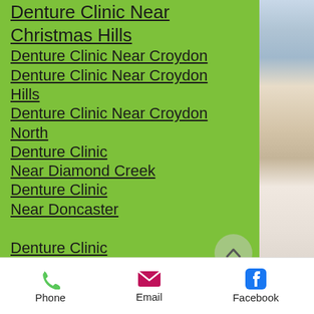Denture Clinic Near Christmas Hills
Denture Clinic Near Croydon
Denture Clinic Near Croydon Hills
Denture Clinic Near Croydon North
Denture Clinic Near Diamond Creek
Denture Clinic Near Doncaster
Denture Clinic Near Doncaster East
Denture Clinic Near Donvale
Denture Clinic Near Eltham
Denture Clinic
Phone   Email   Facebook